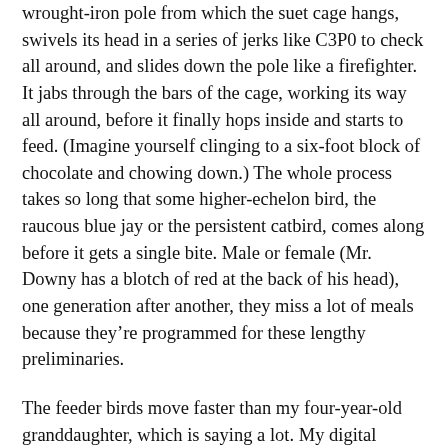wrought-iron pole from which the suet cage hangs, swivels its head in a series of jerks like C3P0 to check all around, and slides down the pole like a firefighter. It jabs through the bars of the cage, working its way all around, before it finally hops inside and starts to feed. (Imagine yourself clinging to a six-foot block of chocolate and chowing down.) The whole process takes so long that some higher-echelon bird, the raucous blue jay or the persistent catbird, comes along before it gets a single bite. Male or female (Mr. Downy has a blotch of red at the back of his head), one generation after another, they miss a lot of meals because they’re programmed for these lengthy preliminaries.
The feeder birds move faster than my four-year-old granddaughter, which is saying a lot. My digital camera did better with the hefty rabbit—a baby bunny just a month ago —and the
[Figure (photo): A rabbit sitting on green grass and fallen leaves, photographed close-up. The rabbit faces slightly to the left, showing its eye and brown/grey fur.]